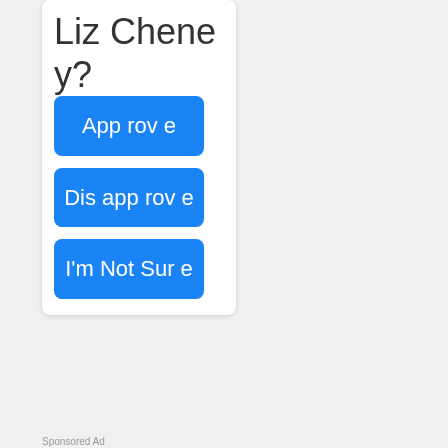Liz Cheney?
Approve
Disapprove
I'm Not Sure
Sponsored Ad